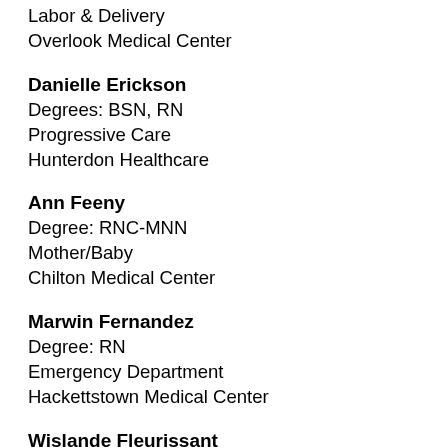Labor & Delivery
Overlook Medical Center
Danielle Erickson
Degrees: BSN, RN
Progressive Care
Hunterdon Healthcare
Ann Feeny
Degree: RNC-MNN
Mother/Baby
Chilton Medical Center
Marwin Fernandez
Degree: RN
Emergency Department
Hackettstown Medical Center
Wislande Fleurissant
Degree: RN
Home Health